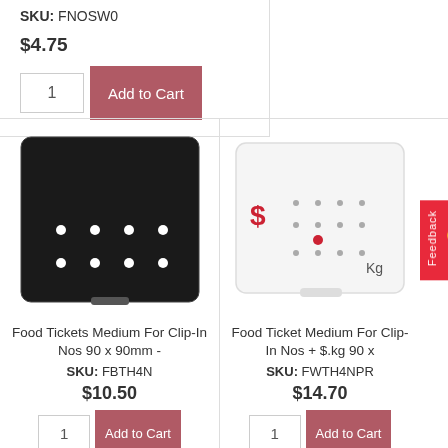SKU: FNOSW0
$4.75
1
Add to Cart
[Figure (photo): Black square food ticket holder with 8 white dots on a dark background]
Food Tickets Medium For Clip-In Nos 90 x 90mm -
SKU: FBTH4N
$10.50
1
Add to Cart
[Figure (photo): White square food ticket with $ sign and Kg label, showing price display area]
Food Ticket Medium For Clip-In Nos + $.kg 90 x
SKU: FWTH4NPR
$14.70
1
Add to Cart